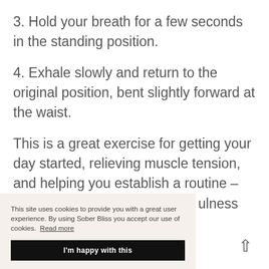3. Hold your breath for a few seconds in the standing position.
4. Exhale slowly and return to the original position, bent slightly forward at the waist.
This is a great exercise for getting your day started, relieving muscle tension, and helping you establish a routine – something incredibly [mindfulness]
This site uses cookies to provide you with a great user experience. By using Sober Bliss you accept our use of cookies. Read more
I'm happy with this